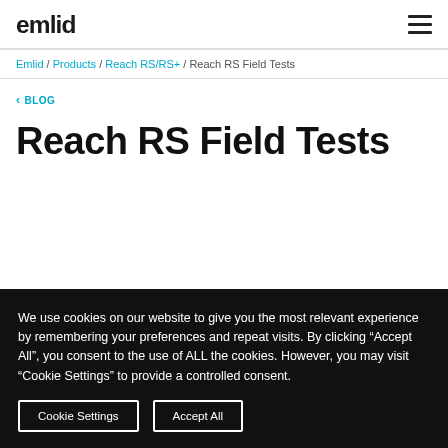Emlid [logo] / hamburger menu
Emlid / Products / Reach RS/RS+ / Reach RS Field Tests
< BLOG
Reach RS Field Tests
We use cookies on our website to give you the most relevant experience by remembering your preferences and repeat visits. By clicking "Accept All", you consent to the use of ALL the cookies. However, you may visit "Cookie Settings" to provide a controlled consent.
Cookie Settings | Accept All